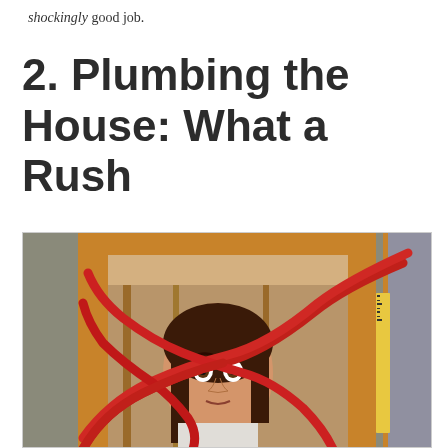shockingly good job.
2. Plumbing the House: What a Rush
[Figure (photo): A woman with wide surprised eyes peers through an open wall frame in a house under construction, surrounded by red PEX plumbing tubes that criss-cross in front of her. Wooden framing and construction materials are visible in the background.]